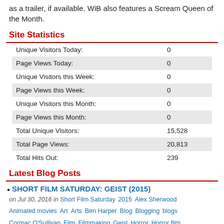as a trailer, if available. WiB also features a Scream Queen of the Month.
Site Statistics
| Metric | Value |
| --- | --- |
| Unique Visitors Today: | 0 |
| Page Views Today: | 0 |
| Unique Visitors this Week: | 0 |
| Page Views this Week: | 0 |
| Unique Visitors this Month: | 0 |
| Page Views this Month: | 0 |
| Total Unique Visitors: | 15,528 |
| Total Page Views: | 20,813 |
| Total Hits Out: | 239 |
Latest Blog Posts
SHORT FILM SATURDAY: GEIST (2015)
on Jul 30, 2016 in Short Film Saturday 2015 Alex Sherwood
Animated movies Art Arts Ben Harper Blog Blogging blogs Cormac O'Sullivan Film Filmmaking Geist Horror Horror film